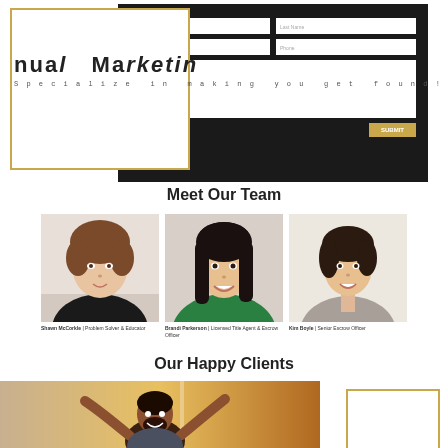[Figure (screenshot): Website screenshot showing a dark contact form with fields for First Name, Last Name, Email, Phone, Message, and a gold Submit button. A gold-bordered white box overlaps on the left with large bold text 'nual Marketing' and italic subtext 'Specialize in making you get found!']
Meet Our Team
[Figure (photo): Headshot of Shawn McCorkle, a woman with short brown hair wearing a black jacket]
Shawn McCorkle | Problem Solver & Educator
[Figure (photo): Headshot of Brandi Parkerson, a woman with long dark hair wearing a green top, smiling]
Brandi Parkerson | Licensed Title Agent & Escrow Officer
[Figure (photo): Headshot of Kim Boyle, a woman with dark curly hair wearing a gray top, smiling]
Kim Boyle | Senior Escrow Officer
Our Happy Clients
[Figure (photo): Photo of a man with raised arms appearing joyful, warm orange/golden lighting, indoor setting]